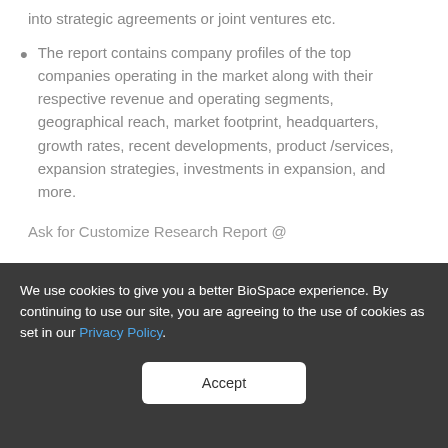into strategic agreements or joint ventures etc.
The report contains company profiles of the top companies operating in the market along with their respective revenue and operating segments, geographical reach, market footprint, headquarters, growth rates, recent developments, product /services, expansion strategies, investments in expansion, and more.
Ask for Customize Research Report @
We use cookies to give you a better BioSpace experience. By continuing to use our site, you are agreeing to the use of cookies as set in our Privacy Policy.
Accept